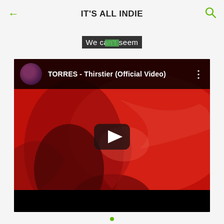IT'S ALL INDIE
We can't seem
[Figure (screenshot): YouTube video embed showing 'TORRES - Thirstier (Official Video)' with a red-tinted music video thumbnail of a woman with flowing hair, a circular channel avatar, a play button overlay in the center, and a black bar at the bottom.]